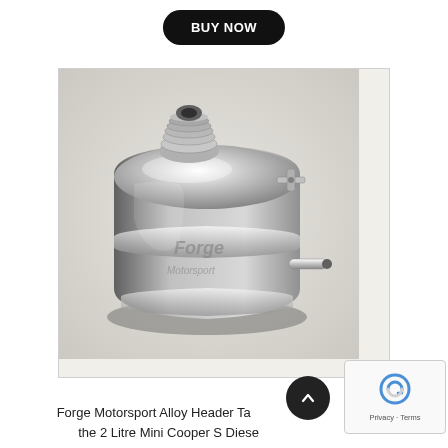BUY NOW
[Figure (photo): Polished silver alloy header tank / expansion tank component branded 'Forge Motorsport'. Cylindrical shape with threaded inlet on top, a small bracket on the upper right side, and a small outlet pipe on the lower right. The Forge logo is visible on the front face.]
Forge Motorsport Alloy Header Tank for the 2 Litre Mini Cooper S Diesel